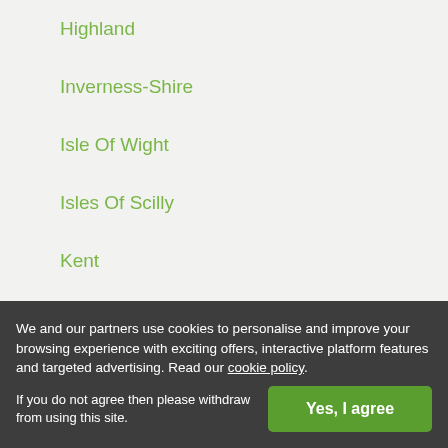Highland
Inverness-Shire
Isle Of Wight
Isles Of Scilly
Kent
Kincardineshire
Kinross-Shire
Kirkcudbrightshire
Lanarkshire
Lancashire
Leicestershire
We and our partners use cookies to personalise and improve your browsing experience with exciting offers, interactive platform features and targeted advertising. Read our cookie policy. If you do not agree then please withdraw from using this site.